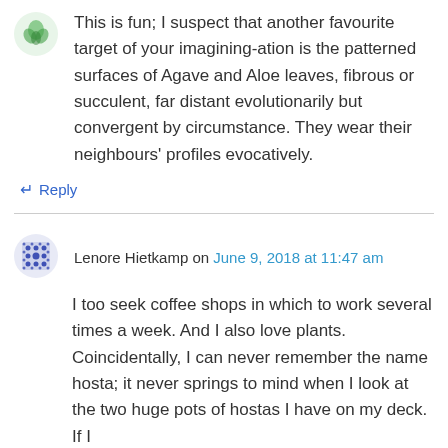[Figure (illustration): Small green avatar/icon for first commenter]
This is fun; I suspect that another favourite target of your imagining-ation is the patterned surfaces of Agave and Aloe leaves, fibrous or succulent, far distant evolutionarily but convergent by circumstance. They wear their neighbours’ profiles evocatively.
↵ Reply
[Figure (illustration): Blue grid/dot pattern avatar for Lenore Hietkamp]
Lenore Hietkamp on June 9, 2018 at 11:47 am
I too seek coffee shops in which to work several times a week. And I also love plants. Coincidentally, I can never remember the name hosta; it never springs to mind when I look at the two huge pots of hostas I have on my deck. If I